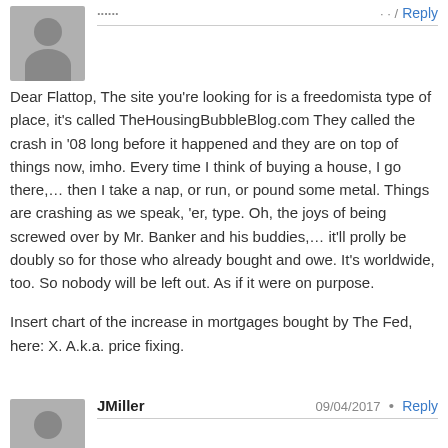Dear Flattop, The site you're looking for is a freedomista type of place, it's called TheHousingBubbleBlog.com They called the crash in '08 long before it happened and they are on top of things now, imho. Every time I think of buying a house, I go there,… then I take a nap, or run, or pound some metal. Things are crashing as we speak, 'er, type. Oh, the joys of being screwed over by Mr. Banker and his buddies,… it'll prolly be doubly so for those who already bought and owe. It's worldwide, too. So nobody will be left out. As if it were on purpose.
Insert chart of the increase in mortgages bought by The Fed, here: X. A.k.a. price fixing.
JMiller
09/04/2017
Flattop,
You might want to take a look at Wolf